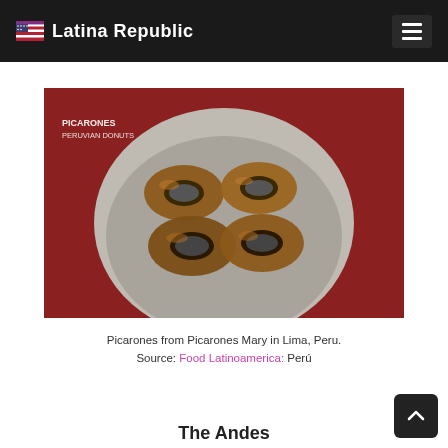Latina Republic
[Figure (photo): A bowl of picarones (Peruvian donuts) from Picarones Mary in Lima, Peru. The fried dough rings are golden-brown and arranged in a round grey bowl against a red background. Text overlay reads: PICARONES PERUVIAN DONUTS.]
Picarones from Picarones Mary in Lima, Peru. Source: Food Latinoamerica: Perú
The Andes